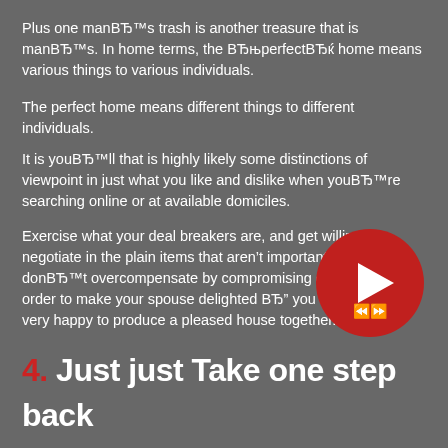Plus one manВЂ™s trash is another treasure that is manВЂ™s. In home terms, the ВЂњperfectВЂќ home means various things to various individuals.
The perfect home means different things to different individuals.
[Figure (illustration): Red circular play button with a white play triangle icon and a rewind/fast-forward icon below it]
It is youВЂ™ll that is highly likely some distinctions of viewpoint in just what you like and dislike when youВЂ™re searching online or at available domiciles.
Exercise what your deal breakers are, and get willing to negotiate in the plain items that aren’t important for you. But donВЂ™t overcompensate by compromising on every thing in order to make your spouse delighted ВЂ" you both have to be very happy to produce a pleased house together.
4. Just just Take one step back